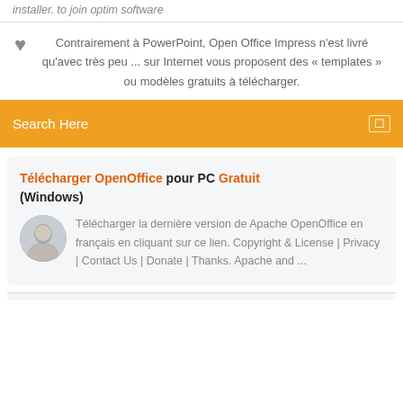installer. to join optim software
Contrairement à PowerPoint, Open Office Impress n'est livré qu'avec très peu ... sur Internet vous proposent des « templates » ou modèles gratuits à télécharger.
Search Here
Télécharger OpenOffice pour PC Gratuit (Windows)
Télécharger la dernière version de Apache OpenOffice en français en cliquant sur ce lien. Copyright & License | Privacy | Contact Us | Donate | Thanks. Apache and ...